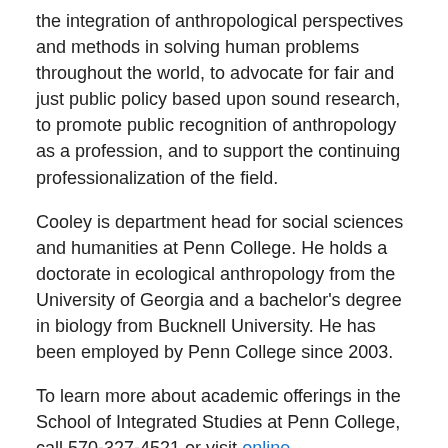the integration of anthropological perspectives and methods in solving human problems throughout the world, to advocate for fair and just public policy based upon sound research, to promote public recognition of anthropology as a profession, and to support the continuing professionalization of the field.
Cooley is department head for social sciences and humanities at Penn College. He holds a doctorate in ecological anthropology from the University of Georgia and a bachelor's degree in biology from Bucknell University. He has been employed by Penn College since 2003.
To learn more about academic offerings in the School of Integrated Studies at Penn College, call 570-327-4521 or visit online .
For general information about the college, visit on the Web , email or call toll-free 800-367-9222.